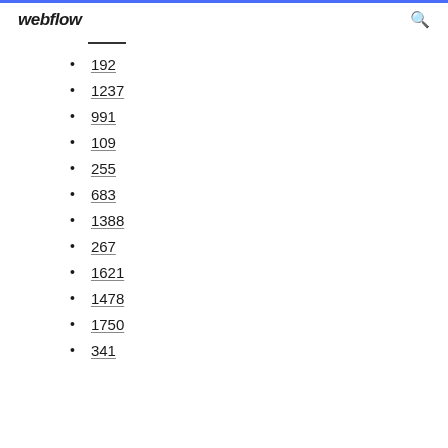webflow
192
1237
991
109
255
683
1388
267
1621
1478
1750
341